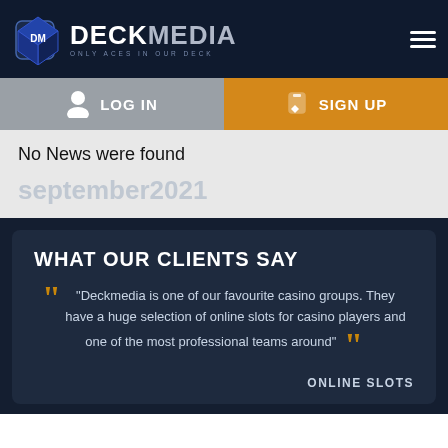DECKMEDIA — ONLY ACES IN OUR DECK
LOG IN
SIGN UP
No News were found
september2021
WHAT OUR CLIENTS SAY
"Deckmedia is one of our favourite casino groups. They have a huge selection of online slots for casino players and one of the most professional teams around"
ONLINE SLOTS